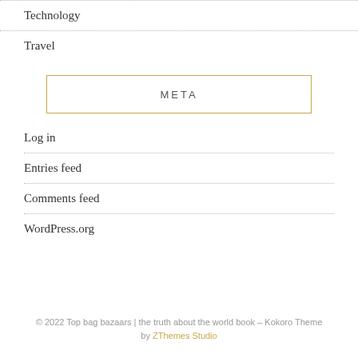Technology
Travel
META
Log in
Entries feed
Comments feed
WordPress.org
© 2022 Top bag bazaars | the truth about the world book – Kokoro Theme by ZThemes Studio